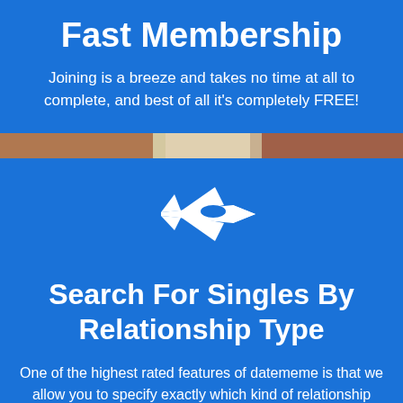Fast Membership
Joining is a breeze and takes no time at all to complete, and best of all it's completely FREE!
[Figure (illustration): Photo strip showing people portraits]
[Figure (illustration): White fighter jet / airplane icon on blue background]
Search For Singles By Relationship Type
One of the highest rated features of datememe is that we allow you to specify exactly which kind of relationship you’re looking for.
[Figure (photo): Photo strip at bottom showing people]
[Figure (illustration): Pink icon at very bottom on blue background]